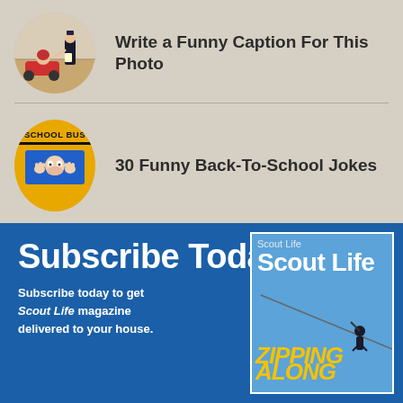[Figure (photo): Circular thumbnail of a child in a go-kart being pulled over by a police officer on a road]
Write a Funny Caption For This Photo
[Figure (photo): Circular thumbnail of a yellow school bus with a child pressing face against the window]
30 Funny Back-To-School Jokes
Subscribe Today!
Subscribe today to get Scout Life magazine delivered to your house.
[Figure (photo): Cover of Scout Life magazine showing a person zip-lining with text ZIPPING ALONG]